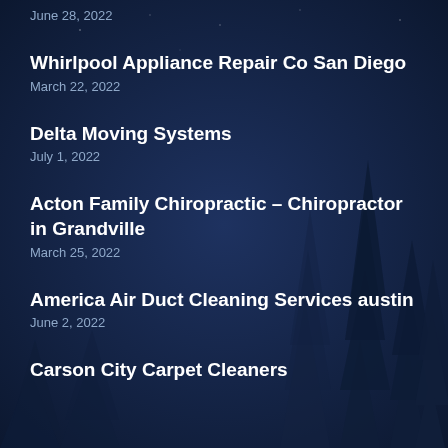June 28, 2022
Whirlpool Appliance Repair Co San Diego
March 22, 2022
Delta Moving Systems
July 1, 2022
Acton Family Chiropractic – Chiropractor in Grandville
March 25, 2022
America Air Duct Cleaning Services austin
June 2, 2022
Carson City Carpet Cleaners